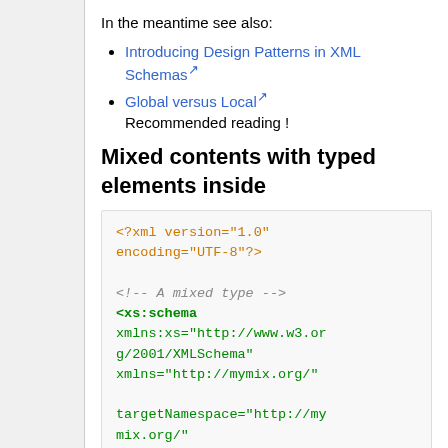In the meantime see also:
Introducing Design Patterns in XML Schemas [external link]
Global versus Local [external link]
Recommended reading !
Mixed contents with typed elements inside
<?xml version="1.0" encoding="UTF-8"?>

<!-- A mixed type -->
<xs:schema
xmlns:xs="http://www.w3.org/2001/XMLSchema"
xmlns="http://mymix.org/"

targetNamespace="http://mymix.org/"
elementFormDefault="qualif
ied">